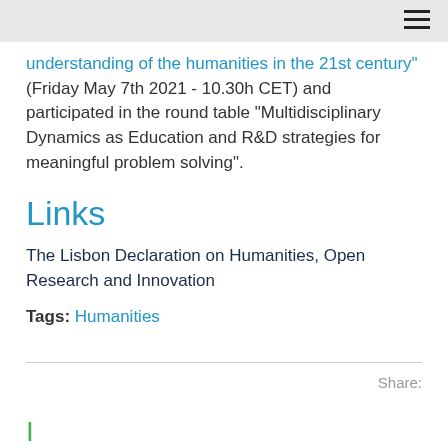understanding of the humanities in the 21st century" (Friday May 7th 2021 - 10.30h CET) and participated in the round table "Multidisciplinary Dynamics as Education and R&D strategies for meaningful problem solving".
Links
The Lisbon Declaration on Humanities, Open Research and Innovation
Tags: Humanities
Share: